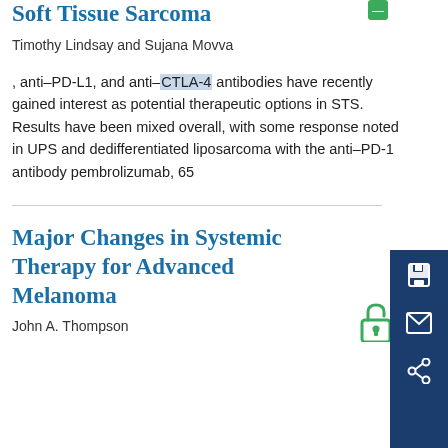Role of Molecular Profiling in Soft Tissue Sarcoma
Timothy Lindsay and Sujana Movva
, anti-PD-L1, and anti-CTLA-4 antibodies have recently gained interest as potential therapeutic options in STS. Results have been mixed overall, with some response noted in UPS and dedifferentiated liposarcoma with the anti-PD-1 antibody pembrolizumab, 65
Major Changes in Systemic Therapy for Advanced Melanoma
John A. Thompson